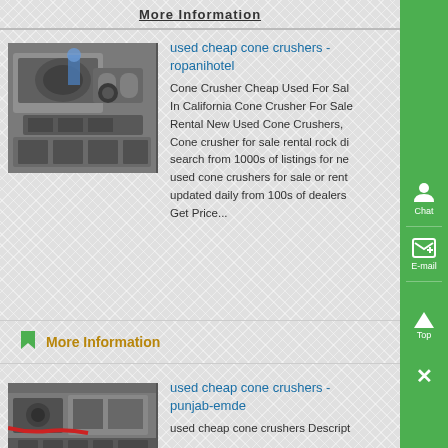More Information
[Figure (photo): Industrial cone crusher machine photographed in factory setting, metallic gray equipment]
used cheap cone crushers - ropanihotel
Cone Crusher Cheap Used For Sale In California Cone Crusher For Sale Rental New Used Cone Crushers, Cone crusher for sale rental rock di search from 1000s of listings for ne used cone crushers for sale or rent updated daily from 100s of dealers Get Price...
More Information
[Figure (photo): Industrial cone crusher machine close-up, mechanical equipment with visible components]
used cheap cone crushers - punjab-emde
used cheap cone crushers Descript